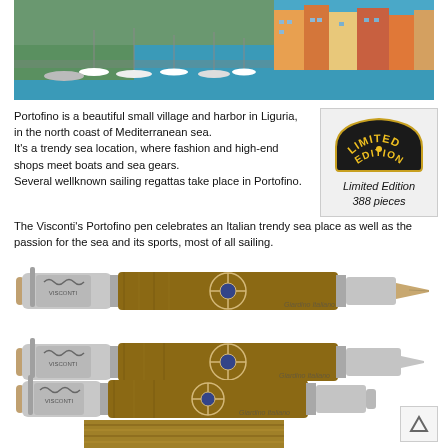[Figure (photo): Aerial view of Portofino harbor with colorful buildings, boats and yachts in turquoise water]
Portofino is a beautiful small village and harbor in Liguria, in the north coast of Mediterranean sea.
It's a trendy sea location, where fashion and high-end shops meet boats and sea gears.
Several wellknown sailing regattas take place in Portofino.
[Figure (illustration): Limited Edition badge - fan shaped with gold/yellow text on black background]
Limited Edition
388 pieces
The Visconti's Portofino pen celebrates an Italian trendy sea place as well as the passion for the sea and its sports, most of all sailing.
[Figure (photo): Visconti Portofino fountain pen with wood barrel and compass rose design, silver trim, Giardino Italiano watermark]
[Figure (photo): Visconti Portofino rollerball pen with wood barrel and compass rose design, silver trim, Giardino Italiano watermark]
[Figure (photo): Visconti Portofino ballpoint pen with wood barrel, shorter, silver trim, Giardino Italiano watermark]
[Figure (photo): Close-up detail of the wood grain barrel at bottom of page]